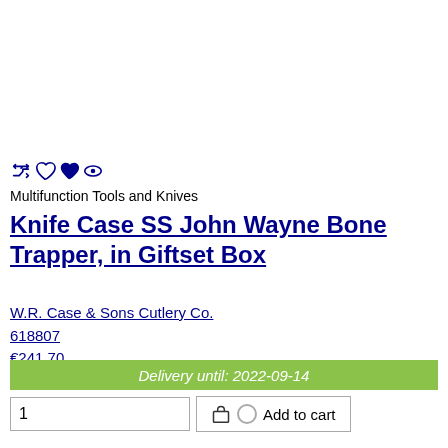[Figure (illustration): Row of icons: shuffle/compare icon, empty heart icon, filled heart icon, eye/view icon — all in dark blue/navy color]
Multifunction Tools and Knives
Knife Case SS John Wayne Bone Trapper, in Giftset Box
W.R. Case & Sons Cutlery Co.
618807
€241.70
Delivery until: 2022-09-14
1  Add to cart